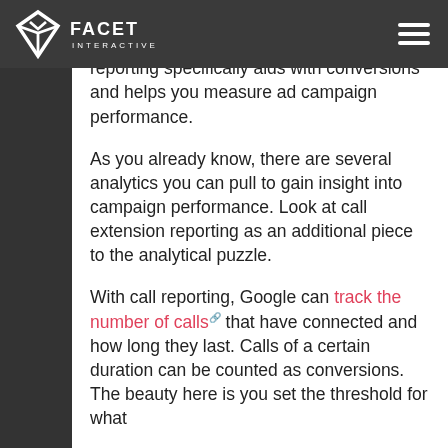Facet Interactive
Now that you are ready for the bigger picture, read about how call extension reporting specifically aids with conversions and helps you measure ad campaign performance.
As you already know, there are several analytics you can pull to gain insight into campaign performance. Look at call extension reporting as an additional piece to the analytical puzzle.
With call reporting, Google can track the number of calls that have connected and how long they last. Calls of a certain duration can be counted as conversions. The beauty here is you set the threshold for what